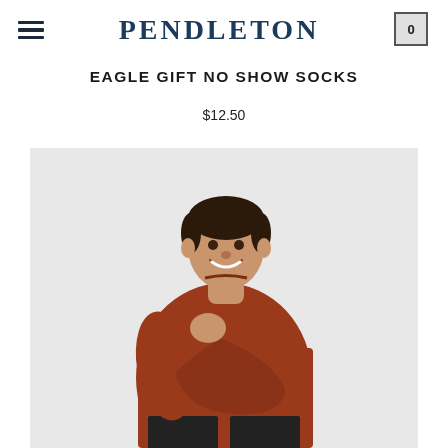PENDLETON
EAGLE GIFT NO SHOW SOCKS
$12.50
[Figure (photo): A smiling man wearing a rust/terracotta colored crew-neck sweater with arms crossed, photographed against a light gray background.]